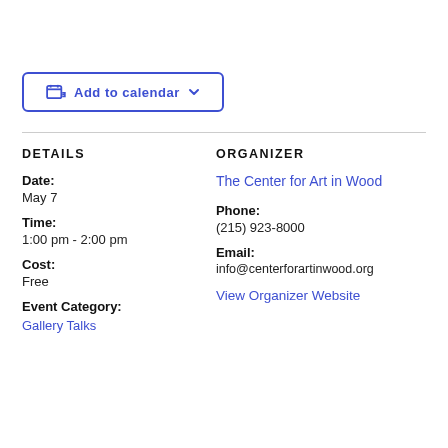[Figure (other): Add to calendar button with calendar icon and dropdown arrow]
DETAILS
ORGANIZER
Date:
May 7
The Center for Art in Wood
Time:
1:00 pm - 2:00 pm
Phone:
(215) 923-8000
Cost:
Free
Email:
info@centerforartinwood.org
Event Category:
Gallery Talks
View Organizer Website